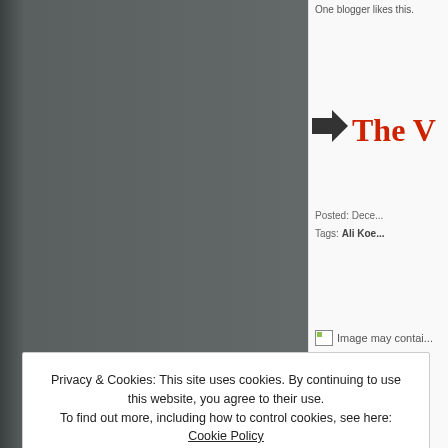One blogger likes this.
[Figure (photo): Dark grey photograph occupying the left portion of the page]
The V...
Posted: Dece...
Tags: Ali Koe...
[Figure (photo): Image may contai...]
Privacy & Cookies: This site uses cookies. By continuing to use this website, you agree to their use.
To find out more, including how to control cookies, see here: Cookie Policy
Close and accept